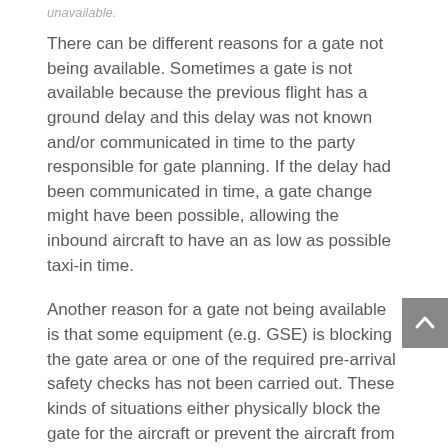unavailable.
There can be different reasons for a gate not being available. Sometimes a gate is not available because the previous flight has a ground delay and this delay was not known and/or communicated in time to the party responsible for gate planning. If the delay had been communicated in time, a gate change might have been possible, allowing the inbound aircraft to have an as low as possible taxi-in time.
Another reason for a gate not being available is that some equipment (e.g. GSE) is blocking the gate area or one of the required pre-arrival safety checks has not been carried out. These kinds of situations either physically block the gate for the aircraft or prevent the aircraft from parking because taxi-in clearance is not given.
All of the situations described above lead to inbound aircraft holding (or even worse, taxiing around) while they